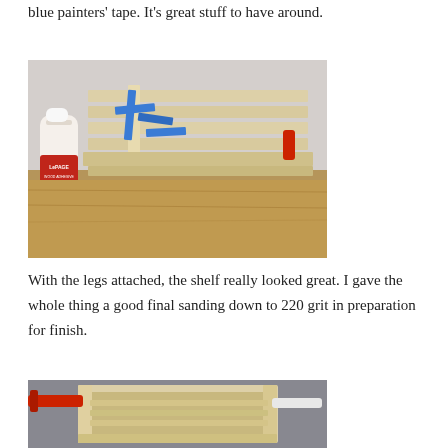blue painters' tape. It's great stuff to have around.
[Figure (photo): A wooden shelf assembly on a workbench with blue painters' tape holding pieces together, and a LePage wood adhesive bottle visible on the left side.]
With the legs attached, the shelf really looked great. I gave the whole thing a good final sanding down to 220 grit in preparation for finish.
[Figure (photo): A wooden shelf/box assembly clamped in a workbench vise, showing the legs and sides of the shelf after assembly.]